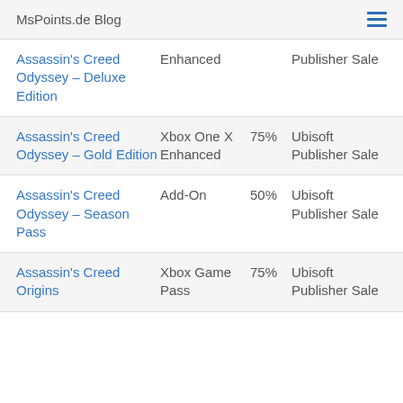MsPoints.de Blog
| Name | Type | Discount | Sale |
| --- | --- | --- | --- |
| Assassin's Creed Odyssey – Deluxe Edition | Enhanced |  | Publisher Sale |
| Assassin's Creed Odyssey – Gold Edition | Xbox One X Enhanced | 75% | Ubisoft Publisher Sale |
| Assassin's Creed Odyssey – Season Pass | Add-On | 50% | Ubisoft Publisher Sale |
| Assassin's Creed Origins | Xbox Game Pass | 75% | Ubisoft Publisher Sale |